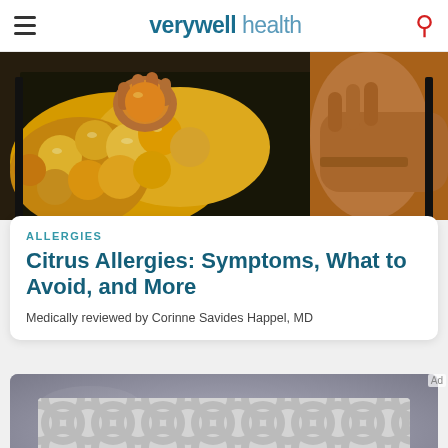verywell health
[Figure (photo): Two people's hands at a produce market, one hand holding an orange citrus fruit above a display of yellow/orange citrus fruits]
ALLERGIES
Citrus Allergies: Symptoms, What to Avoid, and More
Medically reviewed by Corinne Savides Happel, MD
[Figure (photo): Raw pork chops on white parchment paper on a wooden cutting board, on a gray stone surface]
Ad